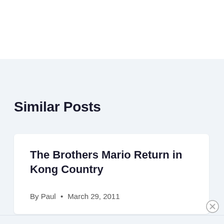Similar Posts
The Brothers Mario Return in Kong Country
By Paul • March 29, 2011